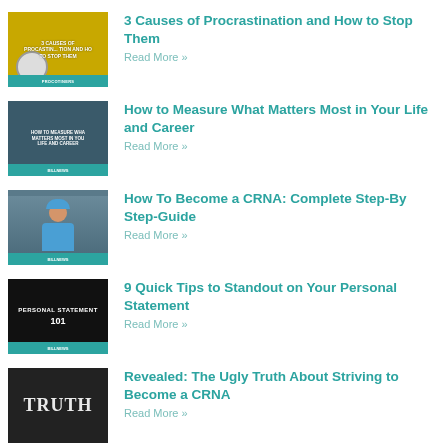[Figure (illustration): Thumbnail for procrastination article with yellow background, clock image, and teal label bar]
3 Causes of Procrastination and How to Stop Them
Read More »
[Figure (illustration): Thumbnail for measuring what matters article with medical professionals on dark blue background]
How to Measure What Matters Most in Your Life and Career
Read More »
[Figure (illustration): Thumbnail for CRNA article with nurse in surgical cap in operating room]
How To Become a CRNA: Complete Step-By Step-Guide
Read More »
[Figure (illustration): Thumbnail for personal statement article with black background showing 'PERSONAL STATEMENT 101' text]
9 Quick Tips to Standout on Your Personal Statement
Read More »
[Figure (illustration): Thumbnail for truth article with dark background showing 'TRUTH' text like a clock face]
Revealed: The Ugly Truth About Striving to Become a CRNA
Read More »